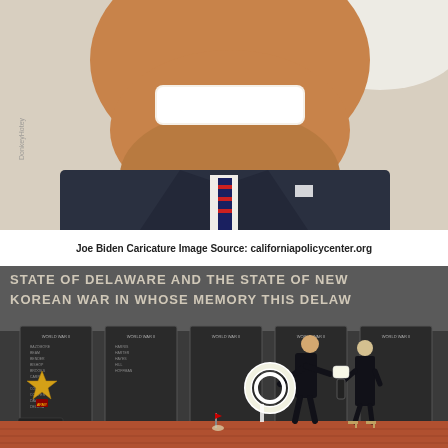[Figure (illustration): Joe Biden caricature illustration showing an exaggerated smiling face with enlarged chin, wearing a dark suit with a striped red and blue tie and white shirt. The figure is shown from chest up against a light background. Watermark text 'DonkeyHotey' visible on left side.]
Joe Biden Caricature Image Source: californiapolicycenter.org
[Figure (photo): Photo of two people, a man in a dark suit bowing and laying a white floral wreath, and a woman in a black dress standing nearby, at the Delaware Korean War Memorial. The black stone wall behind them is engraved with names and the text 'STATE OF DELAWARE AND THE STATE OF NEW... KOREAN WAR IN WHOSE MEMORY THIS DELAW...' A gold star emblem is visible on the left side of the wall. The ground is brick-paved.]